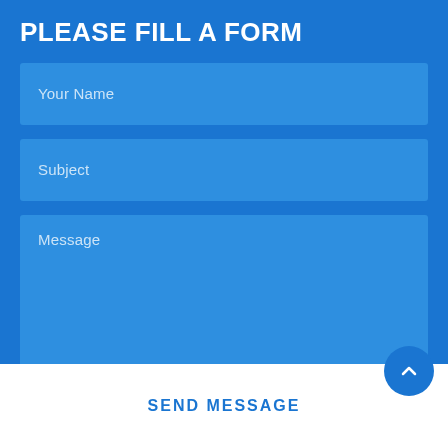PLEASE FILL A FORM
Your Name
Subject
Message
SEND MESSAGE